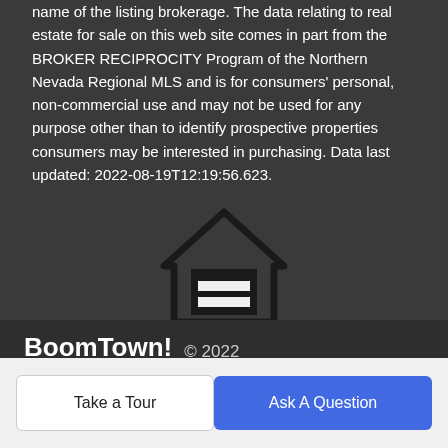name of the listing brokerage. The data relating to real estate for sale on this web site comes in part from the BROKER RECIPROCITY Program of the Northern Nevada Regional MLS and is for consumers' personal, non-commercial use and may not be used for any purpose other than to identify prospective properties consumers may be interested in purchasing. Data last updated: 2022-08-19T12:19:56.623.
[Figure (logo): Equal Housing Opportunity logo — house outline with an equals sign inside, and the text EQUAL HOUSING OPPORTUNITY below]
BoomTown! © 2022 | Terms of Use | Privacy Policy | Accessibility | DMCA | Listings Sitemap
Take a Tour
Ask A Question